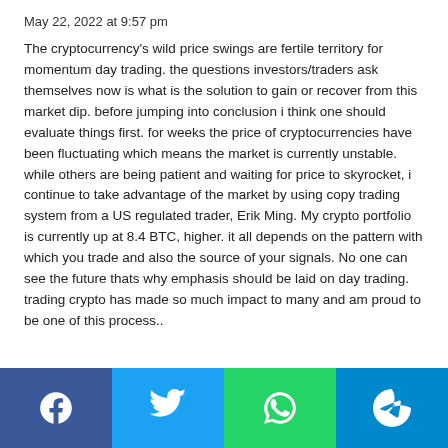May 22, 2022 at 9:57 pm
The cryptocurrency's wild price swings are fertile territory for momentum day trading. the questions investors/traders ask themselves now is what is the solution to gain or recover from this market dip. before jumping into conclusion i think one should evaluate things first. for weeks the price of cryptocurrencies have been fluctuating which means the market is currently unstable. while others are being patient and waiting for price to skyrocket, i continue to take advantage of the market by using copy trading system from a US regulated trader, Erik Ming. My crypto portfolio is currently up at 8.4 BTC, higher. it all depends on the pattern with which you trade and also the source of your signals. No one can see the future thats why emphasis should be laid on day trading. trading crypto has made so much impact to many and am proud to be one of this process..
[Figure (other): Social share buttons: Facebook, Twitter, WhatsApp, Telegram]